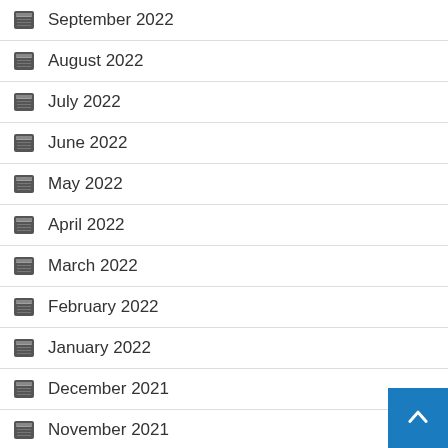September 2022
August 2022
July 2022
June 2022
May 2022
April 2022
March 2022
February 2022
January 2022
December 2021
November 2021
October 2021
September 2021